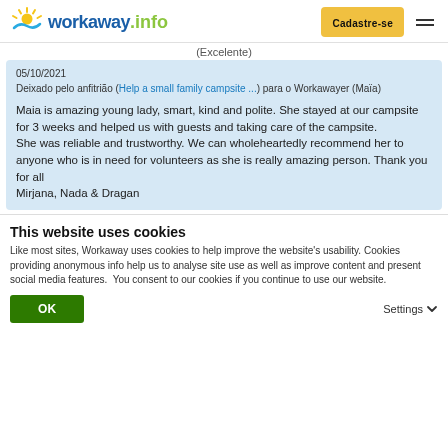workaway.info — Cadastre-se
(Excelente)
05/10/2021
Deixado pelo anfitrião (Help a small family campsite ...) para o Workawayer (Maïa)

Maia is amazing young lady, smart, kind and polite. She stayed at our campsite for 3 weeks and helped us with guests and taking care of the campsite.
She was reliable and trustworthy. We can wholeheartedly recommend her to anyone who is in need for volunteers as she is really amazing person. Thank you for all
Mirjana, Nada & Dragan
This website uses cookies
Like most sites, Workaway uses cookies to help improve the website's usability. Cookies providing anonymous info help us to analyse site use as well as improve content and present social media features.  You consent to our cookies if you continue to use our website.
OK
Settings